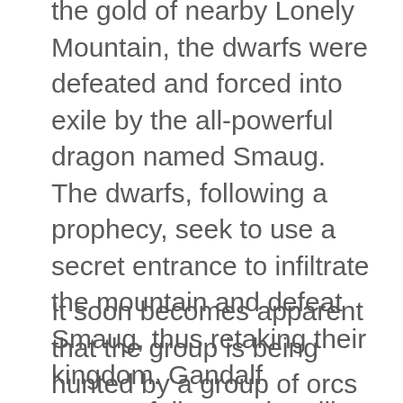the gold of nearby Lonely Mountain, the dwarfs were defeated and forced into exile by the all-powerful dragon named Smaug. The dwarfs, following a prophecy, seek to use a secret entrance to infiltrate the mountain and defeat Smaug, thus retaking their kingdom. Gandalf successfully recruits Bilbo to join the group as their thief, though Thorin believes Bilbo will be a burden as he is not a warrior or adventurer. Thorin has trust issues after the elves refused to help Thorin's grandfather re-take his kingdom after Smaug's arrival.
It soon becomes apparent that the group is being hunted by a group of orcs and wargs led by Azog (Manu Bennett). The orcs fought the dwarfs after the fall of Erebor, and Azog killed Thorin's grandfather (thus, driving Thorin's dad mad with grief), before Thorin sliced off Azog's arm. They...